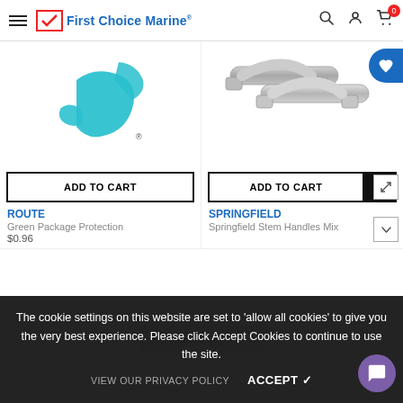First Choice Marine
[Figure (logo): Airmar brand logo - teal colored abstract checkmark/bird shape with registered trademark symbol]
[Figure (photo): Two stainless steel Springfield stem handles, silver/brushed metal finish, shown side by side]
ADD TO CART
ADD TO CART
ROUTE
SPRINGFIELD
Green Package Protection
Springfield Stem Handles Mix
$0.96
The cookie settings on this website are set to 'allow all cookies' to give you the very best experience. Please click Accept Cookies to continue to use the site.
VIEW OUR PRIVACY POLICY
ACCEPT ✓
SOLD OUT